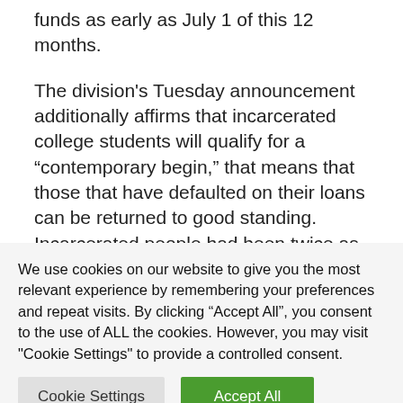funds as early as July 1 of this 12 months.
The division's Tuesday announcement additionally affirms that incarcerated college students will qualify for a “contemporary begin,” that means that those that have defaulted on their loans can be returned to good standing. Incarcerated people had been twice as probably because the broader inhabitants to be denied Pell Grants as a result of that they
We use cookies on our website to give you the most relevant experience by remembering your preferences and repeat visits. By clicking “Accept All”, you consent to the use of ALL the cookies. However, you may visit "Cookie Settings" to provide a controlled consent.